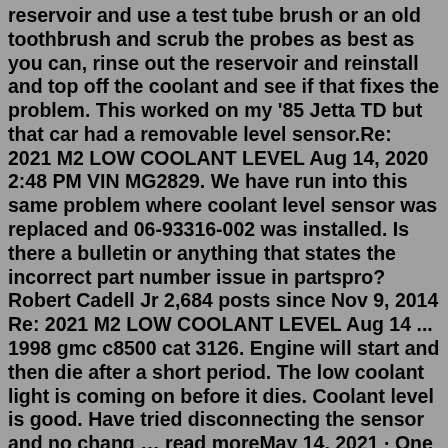reservoir and use a test tube brush or an old toothbrush and scrub the probes as best as you can, rinse out the reservoir and reinstall and top off the coolant and see if that fixes the problem. This worked on my '85 Jetta TD but that car had a removable level sensor.Re: 2021 M2 LOW COOLANT LEVEL Aug 14, 2020 2:48 PM VIN MG2829. We have run into this same problem where coolant level sensor was replaced and 06-93316-002 was installed. Is there a bulletin or anything that states the incorrect part number issue in partspro? Robert Cadell Jr 2,684 posts since Nov 9, 2014 Re: 2021 M2 LOW COOLANT LEVEL Aug 14 ... 1998 gmc c8500 cat 3126. Engine will start and then die after a short period. The low coolant light is coming on before it dies. Coolant level is good. Have tried disconnecting the sensor and no chang … read moreMay 14, 2021 · One of the common problems of the coolant temperature sensor is when it suddenly has poor connection inside the connector or in the wiring harness. When this happens, there will be signal